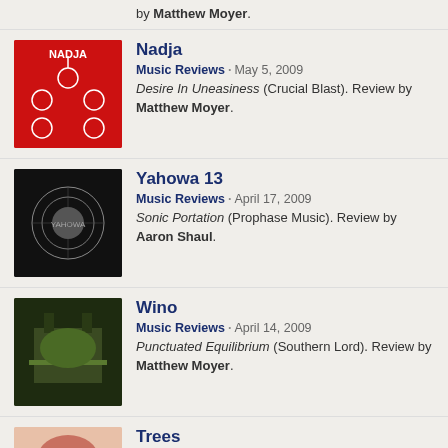by Matthew Moyer.
Nadja
Music Reviews · May 5, 2009
Desire In Uneasiness (Crucial Blast). Review by Matthew Moyer.
[Figure (illustration): Red album cover with white illustrations]
Yahowa 13
Music Reviews · April 17, 2009
Sonic Portation (Prophase Music). Review by Aaron Shaul.
[Figure (illustration): Black album cover with circular medallion design]
Wino
Music Reviews · April 14, 2009
Punctuated Equilibrium (Southern Lord). Review by Matthew Moyer.
[Figure (illustration): Dark green album cover with architectural imagery]
Trees
Music Reviews · February 6, 2009
[Figure (illustration): Pink/red illustrated album cover with figure]